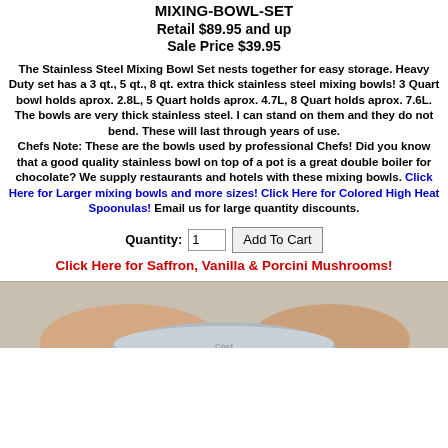MIXING-BOWL-SET
Retail $89.95 and up
Sale Price $39.95
The Stainless Steel Mixing Bowl Set nests together for easy storage. Heavy Duty set has a 3 qt., 5 qt., 8 qt. extra thick stainless steel mixing bowls! 3 Quart bowl holds aprox. 2.8L, 5 Quart holds aprox. 4.7L, 8 Quart holds aprox. 7.6L. The bowls are very thick stainless steel. I can stand on them and they do not bend. These will last through years of use. Chefs Note: These are the bowls used by professional Chefs! Did you know that a good quality stainless bowl on top of a pot is a great double boiler for chocolate? We supply restaurants and hotels with these mixing bowls. Click Here for Larger mixing bowls and more sizes! Click Here for Colored High Heat Spoonulas! Email us for large quantity discounts.
Quantity: 1  [Add To Cart]
Click Here for Saffron, Vanilla & Porcini Mushrooms!
[Figure (photo): Photo of mixing bowls or chef hands with bowl, partially visible at bottom of page]